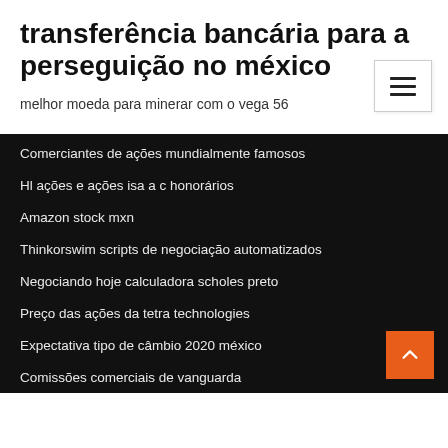transferência bancária para a perseguição no méxico
melhor moeda para minerar com o vega 56
Comerciantes de ações mundialmente famosos
Hl ações e ações isa a c honorários
Amazon stock mxn
Thinkorswim scripts de negociação automatizados
Negociando hoje calculadora scholes preto
Preço das ações da tetra technologies
Expectativa tipo de câmbio 2020 méxico
Comissões comerciais de vanguarda